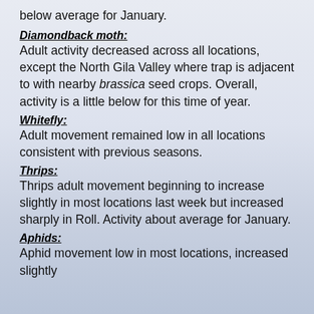below average for January.
Diamondback moth:
Adult activity decreased across all locations, except the North Gila Valley where trap is adjacent to with nearby brassica seed crops. Overall, activity is a little below for this time of year.
Whitefly:
Adult movement remained low in all locations consistent with previous seasons.
Thrips:
Thrips adult movement beginning to increase slightly in most locations last week but increased sharply in Roll. Activity about average for January.
Aphids:
Aphid movement low in most locations, increased slightly